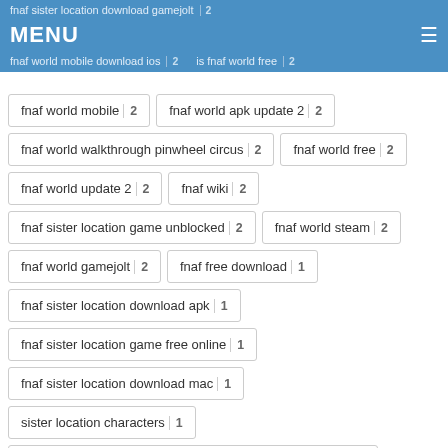fnaf sister location download gamejolt 2
MENU
fnaf world mobile download ios 2  is fnaf world free 2
fnaf world mobile 2
fnaf world apk update 2 2
fnaf world walkthrough pinwheel circus 2
fnaf world free 2
fnaf world update 2 2
fnaf wiki 2
fnaf sister location game unblocked 2
fnaf world steam 2
fnaf world gamejolt 2
fnaf free download 1
fnaf sister location download apk 1
fnaf sister location game free online 1
fnaf sister location download mac 1
sister location characters 1
five nights at freddy's sister location game download free 1